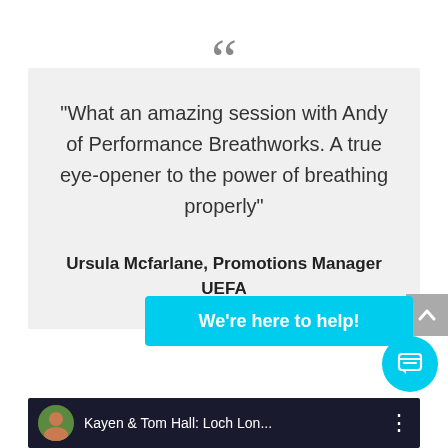[Figure (illustration): Large decorative opening quotation mark in grey]
"What an amazing session with Andy of Performance Breathworks. A true eye-opener to the power of breathing properly"
Ursula Mcfarlane, Promotions Manager UEFA
[Figure (screenshot): Cyan/turquoise chat support button overlay with text 'We're here to help!']
[Figure (screenshot): Dark video strip at bottom showing 'Kayen & Tom Hall: Loch Lon...' with circular thumbnail and three-dot menu, with circular cyan chat icon overlaid]